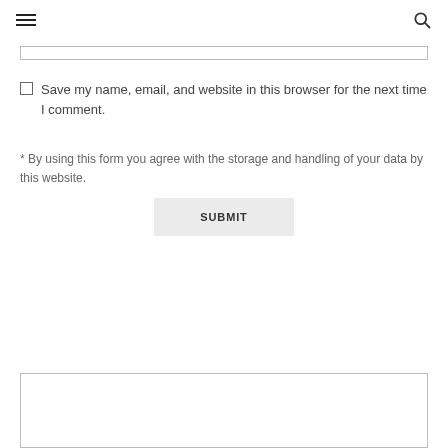☰  🔍
[Figure (other): A horizontal input field / text box at the top of the page]
Save my name, email, and website in this browser for the next time I comment.
* By using this form you agree with the storage and handling of your data by this website.
SUBMIT
[Figure (other): An empty rectangular input/text area at the bottom of the page]